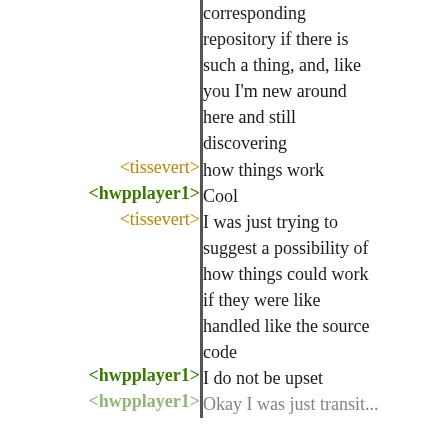corresponding repository if there is such a thing, and, like you I'm new around here and still discovering
<tissevert> how things work
<hwpplayer1> Cool
<tissevert> I was just trying to suggest a possibility of how things could work if they were like handled like the source code
<hwpplayer1> I do not be upset
<hwpplayer1> Okay I was just transit...